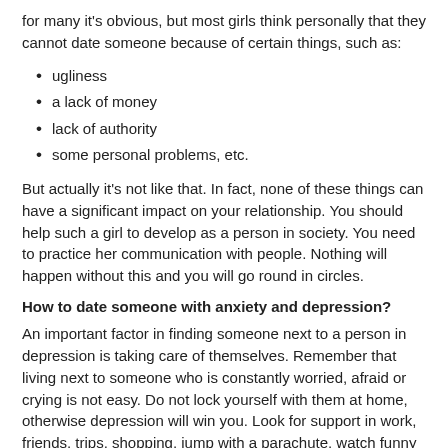for many it's obvious, but most girls think personally that they cannot date someone because of certain things, such as:
ugliness
a lack of money
lack of authority
some personal problems, etc.
But actually it's not like that. In fact, none of these things can have a significant impact on your relationship. You should help such a girl to develop as a person in society. You need to practice her communication with people. Nothing will happen without this and you will go round in circles.
How to date someone with anxiety and depression?
An important factor in finding someone next to a person in depression is taking care of themselves. Remember that living next to someone who is constantly worried, afraid or crying is not easy. Do not lock yourself with them at home, otherwise depression will win you. Look for support in work, friends, trips, shopping, jump with a parachute, watch funny comedies.
If you are not the cause of depression in a person, do not blame yourself. Depression, like a cancer, is caused by a complex combination of different factors, and you are certainly not the most important factor.
[Figure (other): Twitter Tweet button]